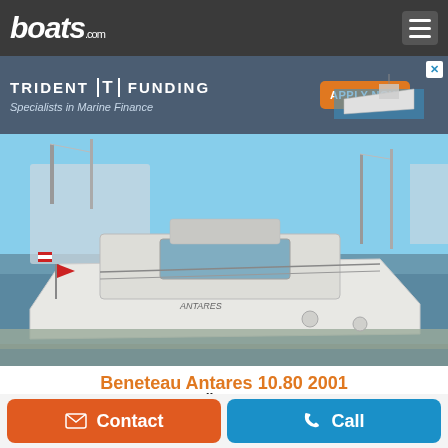boats.com
[Figure (screenshot): Trident Funding advertisement banner: 'TRIDENT FUNDING — Specialists in Marine Finance' with an orange APPLY NOW button and a boat image on the right. A close X button in top right.]
[Figure (photo): Photo of a white Beneteau Antares 10.80 motorboat moored at a marina dock, with other sailboats visible in the background.]
Beneteau Antares 10.80 2001
St Helier, Jersey
$122,901
Contact
Call